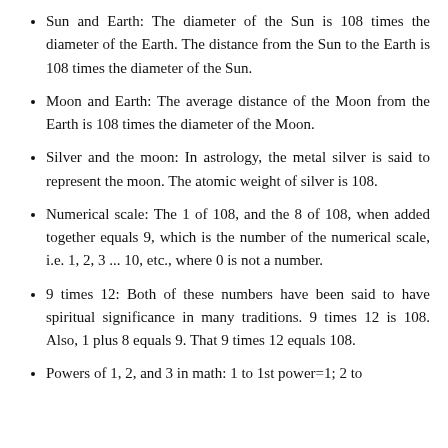Sun and Earth: The diameter of the Sun is 108 times the diameter of the Earth. The distance from the Sun to the Earth is 108 times the diameter of the Sun.
Moon and Earth: The average distance of the Moon from the Earth is 108 times the diameter of the Moon.
Silver and the moon: In astrology, the metal silver is said to represent the moon. The atomic weight of silver is 108.
Numerical scale: The 1 of 108, and the 8 of 108, when added together equals 9, which is the number of the numerical scale, i.e. 1, 2, 3 ... 10, etc., where 0 is not a number.
9 times 12: Both of these numbers have been said to have spiritual significance in many traditions. 9 times 12 is 108. Also, 1 plus 8 equals 9. That 9 times 12 equals 108.
Powers of 1, 2, and 3 in math: 1 to 1st power=1; 2 to